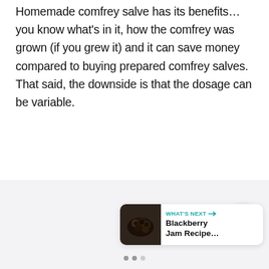Homemade comfrey salve has its benefits…you know what's in it, how the comfrey was grown (if you grew it) and it can save money compared to buying prepared comfrey salves.  That said, the downside is that the dosage can be variable.
[Figure (other): Share button (circle with share icon) and a 'What's Next' card showing Blackberry Jam Recipe with a dark berry image thumbnail]